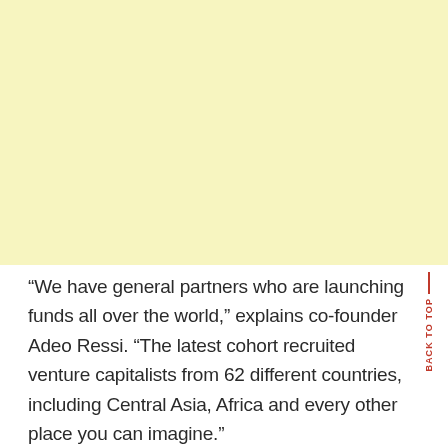[Figure (other): Large light yellow background block occupying the upper portion of the page]
“We have general partners who are launching funds all over the world,” explains co-founder Adeo Ressi. “The latest cohort recruited venture capitalists from 62 different countries, including Central Asia, Africa and every other place you can imagine.”